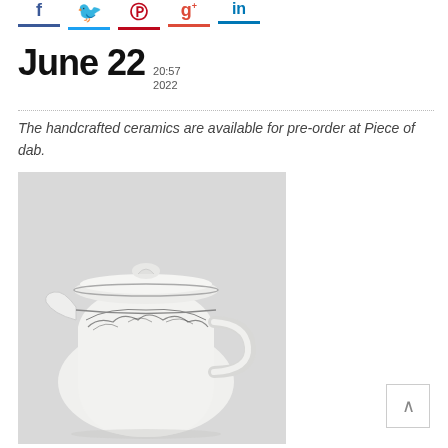f  [twitter]  [pinterest]  g+  in
June 22  20:57  2022
The handcrafted ceramics are available for pre-order at Piece of dab.
[Figure (photo): A white handcrafted ceramic teapot with a lid featuring a small sculptural knob on top, decorated with a dark floral or hand-drawn pattern around the upper body, photographed against a plain light grey background.]